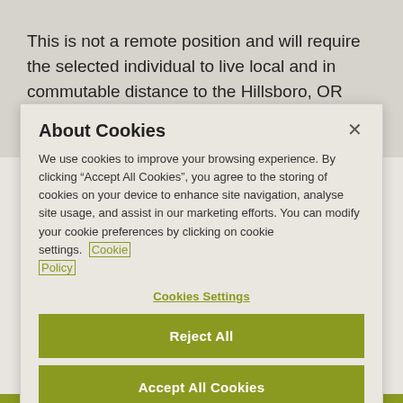This is not a remote position and will require the selected individual to live local and in commutable distance to the Hillsboro, OR office.
About Cookies
We use cookies to improve your browsing experience. By clicking “Accept All Cookies”, you agree to the storing of cookies on your device to enhance site navigation, analyse site usage, and assist in our marketing efforts. You can modify your cookie preferences by clicking on cookie settings. Cookie Policy
Cookies Settings
Reject All
Accept All Cookies